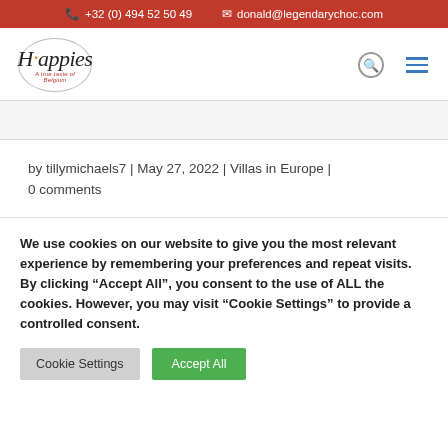+32 (0) 494 52 50 49   donald@legendarychoc.com
[Figure (logo): Happies brand logo with oval border and tagline 'A true taste of Belgium']
by tillymichaels7 | May 27, 2022 | Villas in Europe | 0 comments
We use cookies on our website to give you the most relevant experience by remembering your preferences and repeat visits. By clicking "Accept All", you consent to the use of ALL the cookies. However, you may visit "Cookie Settings" to provide a controlled consent.